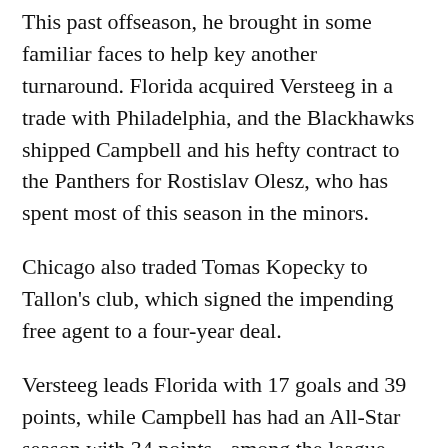This past offseason, he brought in some familiar faces to help key another turnaround. Florida acquired Versteeg in a trade with Philadelphia, and the Blackhawks shipped Campbell and his hefty contract to the Panthers for Rostislav Olesz, who has spent most of this season in the minors.
Chicago also traded Tomas Kopecky to Tallon's club, which signed the impending free agent to a four-year deal.
Versteeg leads Florida with 17 goals and 39 points, while Campbell has had an All-Star season with 34 points - among the league leaders for defensemen.
The Panthers (21-14-10) have led their division alone for much of the season, but they're currently tied with Washington after going 2-5-4 in their last 12...